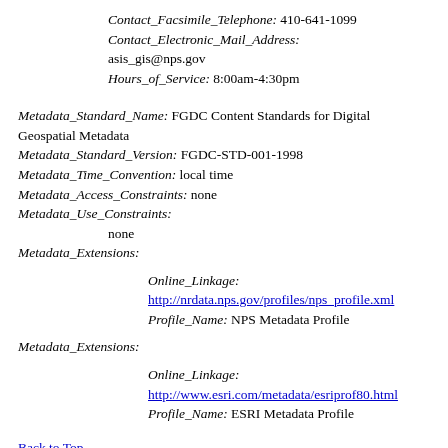Contact_Facsimile_Telephone: 410-641-1099
Contact_Electronic_Mail_Address: asis_gis@nps.gov
Hours_of_Service: 8:00am-4:30pm
Metadata_Standard_Name: FGDC Content Standards for Digital Geospatial Metadata
Metadata_Standard_Version: FGDC-STD-001-1998
Metadata_Time_Convention: local time
Metadata_Access_Constraints: none
Metadata_Use_Constraints: none
Metadata_Extensions:
Online_Linkage: http://nrdata.nps.gov/profiles/nps_profile.xml
Profile_Name: NPS Metadata Profile
Metadata_Extensions:
Online_Linkage: http://www.esri.com/metadata/esriprof80.html
Profile_Name: ESRI Metadata Profile
Back to Top